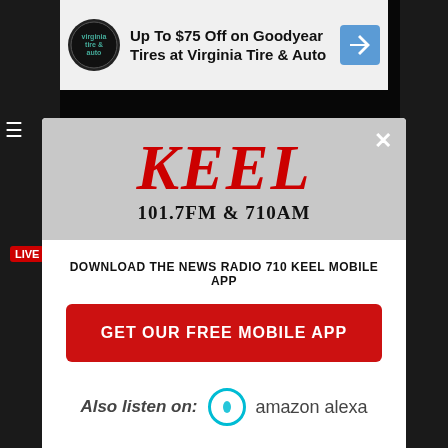[Figure (screenshot): Top advertisement banner: Up To $75 Off on Goodyear Tires at Virginia Tire & Auto with Virginia Tire & Auto logo and blue arrow sign]
[Figure (logo): KEEL 101.7FM & 710AM radio station logo in red serif italic text on gray background with white X close button]
DOWNLOAD THE NEWS RADIO 710 KEEL MOBILE APP
GET OUR FREE MOBILE APP
Also listen on:  amazon alexa
[Figure (screenshot): Bottom advertisement banner: Up To $75 Off on Goodyear Tires at Virginia Tire & Auto with Virginia Tire & Auto logo and blue arrow sign, Images label]